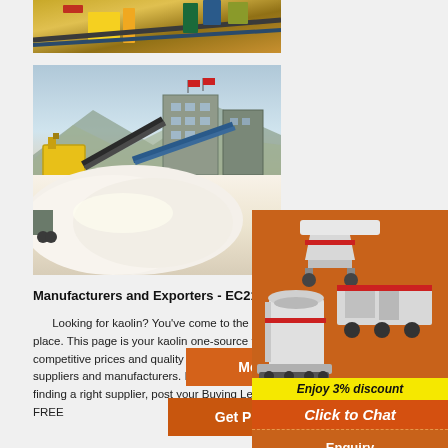[Figure (photo): Aerial/overhead view of industrial facility with yellow equipment and conveyor systems]
[Figure (photo): Kaolin/mining processing facility with conveyors, equipment, and large white mineral pile in foreground]
Manufacturers and Exporters - EC21
Looking for kaolin? You've come to the right place. This page is your kaolin one-source for the competitive prices and quality from sewing machine suppliers and manufacturers. If you have a difficulty finding a right supplier, post your Buying Leads for FREE
[Figure (photo): Advertisement sidebar showing industrial crushing/grinding machines on orange background with discount offer and contact info]
Enjoy 3% discount
Click to Chat
Enquiry
limingjlmofen@sina.com
More
Get Price